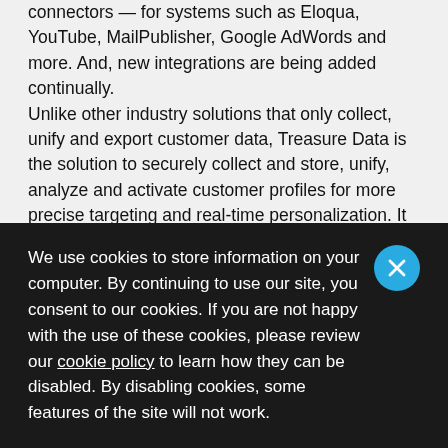connectors — for systems such as Eloqua, YouTube, MailPublisher, Google AdWords and more. And, new integrations are being added continually.
Unlike other industry solutions that only collect, unify and export customer data, Treasure Data is the solution to securely collect and store, unify, analyze and activate customer profiles for more precise targeting and real-time personalization. It is the one enterprise Customer Data Platform that brings a feature-rich set of marketer-enabled functionality to the market on top of a
We use cookies to store information on your computer. By continuing to use our site, you consent to our cookies. If you are not happy with the use of these cookies, please review our cookie policy to learn how they can be disabled. By disabling cookies, some features of the site will not work.